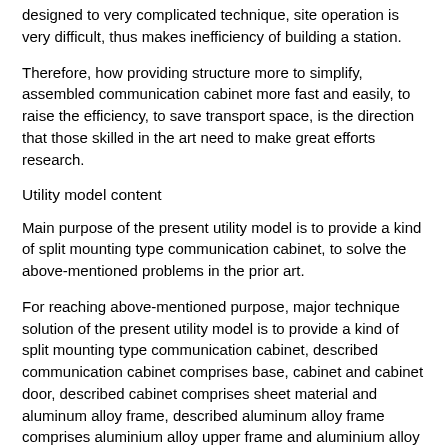designed to very complicated technique, site operation is very difficult, thus makes inefficiency of building a station.
Therefore, how providing structure more to simplify, assembled communication cabinet more fast and easily, to raise the efficiency, to save transport space, is the direction that those skilled in the art need to make great efforts research.
Utility model content
Main purpose of the present utility model is to provide a kind of split mounting type communication cabinet, to solve the above-mentioned problems in the prior art.
For reaching above-mentioned purpose, major technique solution of the present utility model is to provide a kind of split mounting type communication cabinet, described communication cabinet comprises base, cabinet and cabinet door, described cabinet comprises sheet material and aluminum alloy frame, described aluminum alloy frame comprises aluminium alloy upper frame and aluminium alloy underframe, described aluminium alloy underframe is fixedly installed on described base, and